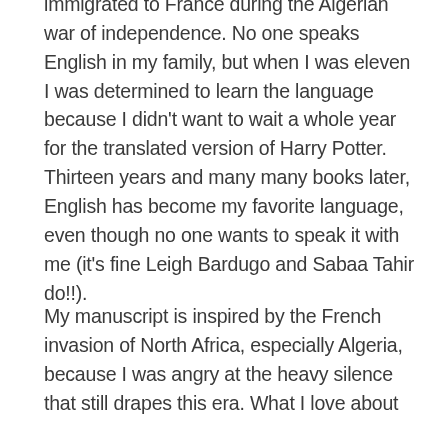immigrated to France during the Algerian war of independence. No one speaks English in my family, but when I was eleven I was determined to learn the language because I didn't want to wait a whole year for the translated version of Harry Potter. Thirteen years and many many books later, English has become my favorite language, even though no one wants to speak it with me (it's fine Leigh Bardugo and Sabaa Tahir do!!).
My manuscript is inspired by the French invasion of North Africa, especially Algeria, because I was angry at the heavy silence that still drapes this era. What I love about